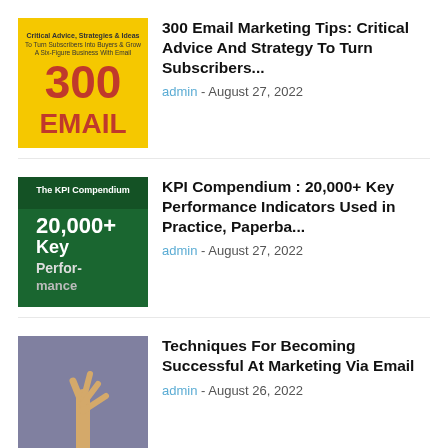[Figure (illustration): Book cover: 300 Email Marketing Tips, yellow background with red text '300 EMAIL']
300 Email Marketing Tips: Critical Advice And Strategy To Turn Subscribers...
admin - August 27, 2022
[Figure (illustration): Book cover: The KPI Compendium 20,000+ Key Performance Indicators, dark green background]
KPI Compendium : 20,000+ Key Performance Indicators Used in Practice, Paperba...
admin - August 27, 2022
[Figure (photo): Photo of a hand raised up against a purple/grey background]
Techniques For Becoming Successful At Marketing Via Email
admin - August 26, 2022
NO COMMENTS
LEAVE A REPLY